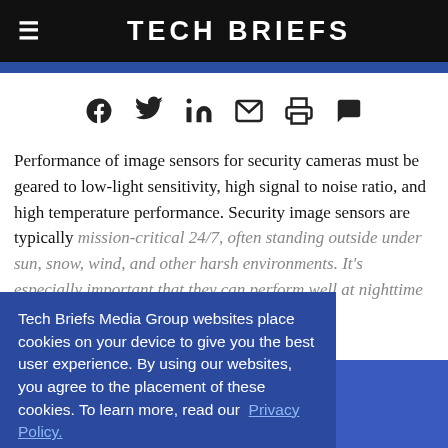Tech Briefs
[Figure (infographic): Social media sharing icons: Facebook, Twitter, LinkedIn, Email, Print, Comment]
Performance of image sensors for security cameras must be geared to low-light sensitivity, high signal to noise ratio, and high temperature performance. Security image sensors are typically mission-critical 24/7, often standing outside under sun, snow, wind, and other harsh environments. It's especially important that they can perform well at nighttime under dark conditions.
Tech Briefs Media Group websites place cookies on your device to give you the best user experience. By using our websites, you agree to the placement of these cookies. To learn more, read our Privacy Policy.